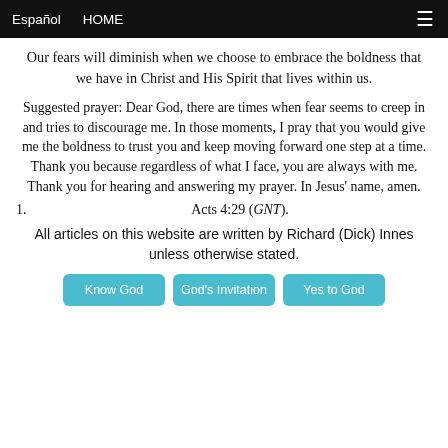Español  HOME  ☰
Our fears will diminish when we choose to embrace the boldness that we have in Christ and His Spirit that lives within us.
Suggested prayer: Dear God, there are times when fear seems to creep in and tries to discourage me. In those moments, I pray that you would give me the boldness to trust you and keep moving forward one step at a time. Thank you because regardless of what I face, you are always with me. Thank you for hearing and answering my prayer. In Jesus' name, amen.
1. Acts 4:29 (GNT).
All articles on this website are written by Richard (Dick) Innes unless otherwise stated.
Know God  God's Invitation  Yes to God